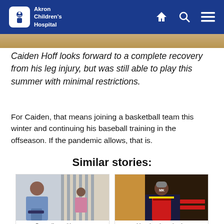Akron Children's Hospital
[Figure (photo): Top image strip showing a scene, partially visible]
Caiden Hoff looks forward to a complete recovery from his leg injury, but was still able to play this summer with minimal restrictions.
For Caiden, that means joining a basketball team this winter and continuing his baseball training in the offseason. If the pandemic allows, that is.
Similar stories:
[Figure (photo): Teenage boy looking at phone near school lockers]
[Figure (photo): Young person in red marching band uniform with MK letters, smiling]
Grappling with your...
Hearing-impaired...